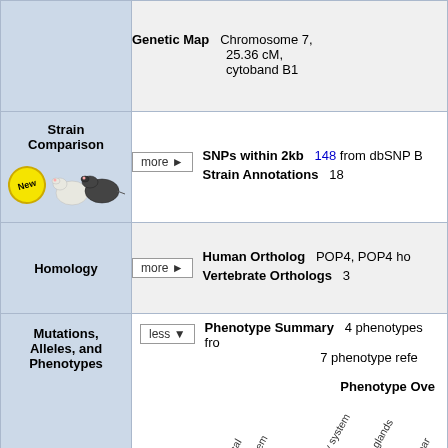| Section | Content | Details |
| --- | --- | --- |
|  | Genetic Map | Chromosome 7, 25.36 cM, cytoband B1 |
| Strain Comparison | SNPs within 2kb | 148 from dbSNP B... |
| Strain Comparison | Strain Annotations | 18 |
| Homology | Human Ortholog | POP4, POP4 ho... |
| Homology | Vertebrate Orthologs | 3 |
| Mutations, Alleles, and Phenotypes | Phenotype Summary | 4 phenotypes from... 7 phenotype refe... |
[Figure (other): Phenotype Overview chart showing rotated category labels: adipose tissue, behavior/neurological, cardiovascular system, cellular, craniofacial, digestive/alimentary system, embryo, endocrine/exocrine glands, growth/size/body, hearing/vestibular/ear, hematopoietic system, homeostasis/metabolism, immune system/regulat...]